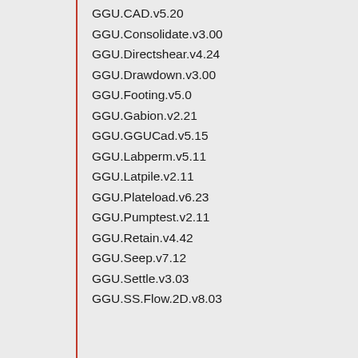GGU.CAD.v5.20
GGU.Consolidate.v3.00
GGU.Directshear.v4.24
GGU.Drawdown.v3.00
GGU.Footing.v5.0
GGU.Gabion.v2.21
GGU.GGUCad.v5.15
GGU.Labperm.v5.11
GGU.Latpile.v2.11
GGU.Plateload.v6.23
GGU.Pumptest.v2.11
GGU.Retain.v4.42
GGU.Seep.v7.12
GGU.Settle.v3.03
GGU.SS.Flow.2D.v8.03